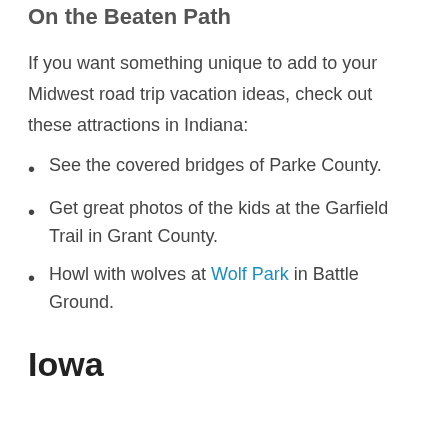On the Beaten Path
If you want something unique to add to your Midwest road trip vacation ideas, check out these attractions in Indiana:
See the covered bridges of Parke County.
Get great photos of the kids at the Garfield Trail in Grant County.
Howl with wolves at Wolf Park in Battle Ground.
Iowa